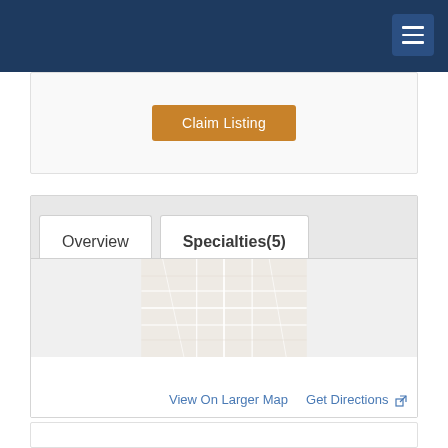Claim Listing
Overview   Specialties (5)
[Figure (screenshot): Embedded map area showing a geographic map view]
View On Larger Map   Get Directions